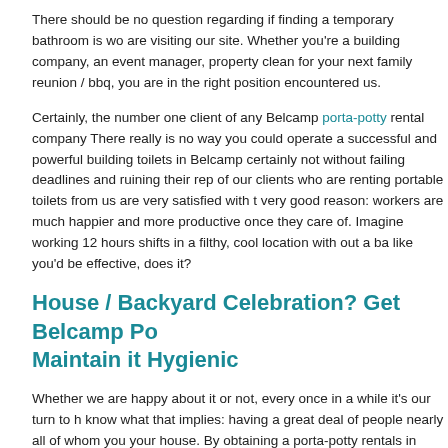There should be no question regarding if finding a temporary bathroom is wo... are visiting our site. Whether you're a building company, an event manager, ... property clean for your next family reunion / bbq, you are in the right position... encountered us.
Certainly, the number one client of any Belcamp porta-potty rental company... There really is no way you could operate a successful and powerful building... toilets in Belcamp certainly not without failing deadlines and ruining their rep... of our clients who are renting portable toilets from us are very satisfied with t... very good reason: workers are much happier and more productive once they... care of. Imagine working 12 hours shifts in a filthy, cool location with out a ba... like you'd be effective, does it?
House / Backyard Celebration? Get Belcamp Po... Maintain it Hygienic
Whether we are happy about it or not, every once in a while it's our turn to h... know what that implies: having a great deal of people nearly all of whom you... your house. By obtaining a porta-potty rentals in Belcamp you may prevent t... all these people end up utilizing the same toilet you and your family use ever...
Moreover, you also have the excellent benefit of everybody noticing how car...